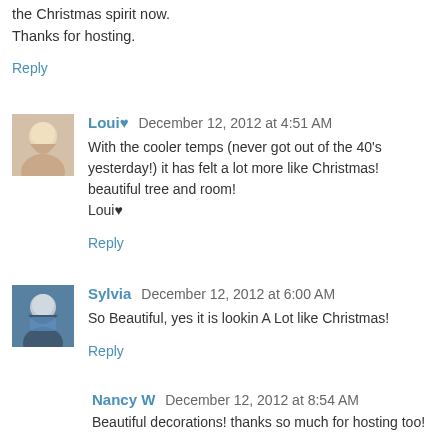the Christmas spirit now.
Thanks for hosting.
Reply
Loui♥  December 12, 2012 at 4:51 AM
With the cooler temps (never got out of the 40's yesterday!) it has felt a lot more like Christmas!
beautiful tree and room!
Loui♥
Reply
Sylvia  December 12, 2012 at 6:00 AM
So Beautiful, yes it is lookin A Lot like Christmas!
Reply
Nancy W  December 12, 2012 at 8:54 AM
Beautiful decorations! thanks so much for hosting too!